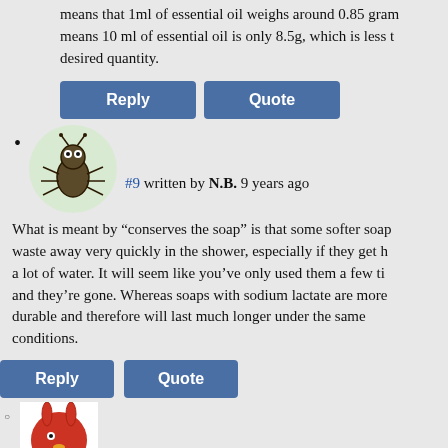means that 1ml of essential oil weighs around 0.85 grams. This means 10 ml of essential oil is only 8.5g, which is less than the desired quantity.
Reply | Quote (buttons for comment #9)
#9 written by N.B. 9 years ago
What is meant by “conserves the soap” is that some softer soaps waste away very quickly in the shower, especially if they get held a lot of water. It will seem like you’ve only used them a few times and they’re gone. Whereas soaps with sodium lactate are more durable and therefore will last much longer under the same conditions.
Reply | Quote (buttons for comment #10)
#10 written by evik 9 years ago
Thank you, N.B., for your input. I updated the info in the